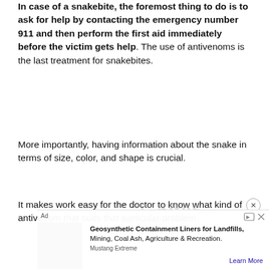In case of a snakebite, the foremost thing to do is to ask for help by contacting the emergency number 911 and then perform the first aid immediately before the victim gets help. The use of antivenoms is the last treatment for snakebites.
More importantly, having information about the snake in terms of size, color, and shape is crucial.
It makes work easy for the doctor to know what kind of antivenom that suits that particular problem.
[Figure (other): Advertisement overlay: Ad for Geosynthetic Containment Liners for Landfills, Mining, Coal Ash, Agriculture & Recreation by Mustang Extreme, with a Learn More link. A watermark/placeholder graphic is partially visible behind the ad.]